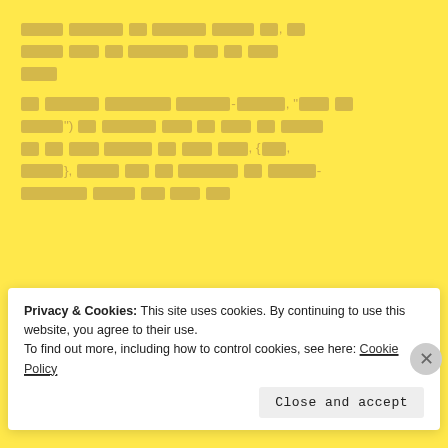[Redacted non-Latin script text block - multiple paragraphs with redacted/censored content shown as yellow boxes]
Advertisements
[Figure (screenshot): WordPress VIP advertisement banner with 'Learn more →' button]
Privacy & Cookies: This site uses cookies. By continuing to use this website, you agree to their use.
To find out more, including how to control cookies, see here: Cookie Policy
Close and accept